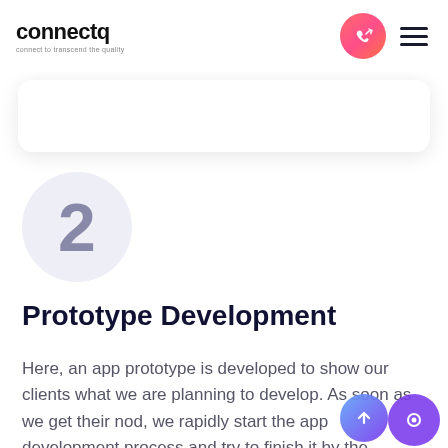connectq — connect to transcend the quality
[Figure (illustration): Partial white card with rounded corners and shadow, partially visible below the header]
[Figure (illustration): Step number 2 in a light lavender circle, indicating step 2 of a process]
Prototype Development
Here, an app prototype is developed to show our clients what we are planning to develop. As soon as we get their nod, we rapidly start the app development process and try to finish it by the stipulated time fra